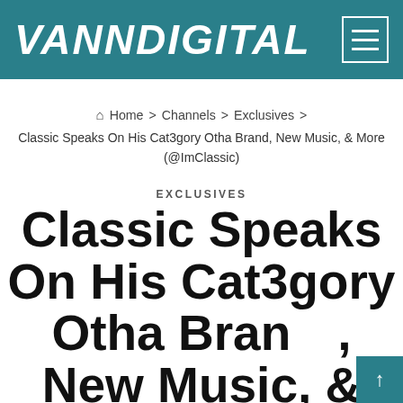VANNDIGITAL
Home > Channels > Exclusives > Classic Speaks On His Cat3gory Otha Brand, New Music, & More (@ImClassic)
EXCLUSIVES
Classic Speaks On His Cat3gory Otha Brand, New Music, & More